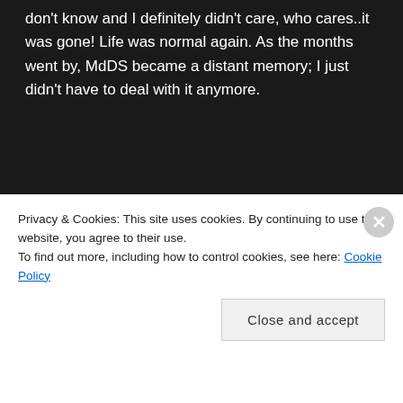don't know and I definitely didn't care, who cares..it was gone! Life was normal again. As the months went by, MdDS became a distant memory; I just didn't have to deal with it anymore.
[Figure (other): Advertisement banner showing a green block with a checkmark logo and text 'The go-to app for' partially visible, with a red circle on the right]
No more did I have to listen to annoying people telling me I have vertigo or Meniere's disease, or allergies, or
Privacy & Cookies: This site uses cookies. By continuing to use this website, you agree to their use.
To find out more, including how to control cookies, see here: Cookie Policy
Close and accept